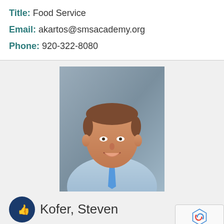Title: Food Service
Email: akartos@smsacademy.org
Phone: 920-322-8080
[Figure (photo): Headshot of a man with short brown hair wearing a light blue checkered shirt and blue tie, smiling, against a grey background]
Knofer, Steven
Title: De...fer & Princi...